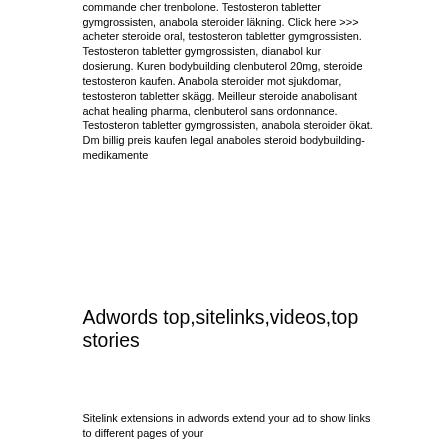commande cher trenbolone. Testosteron tabletter gymgrossisten, anabola steroider läkning. Click here >>> acheter steroide oral, testosteron tabletter gymgrossisten. Testosteron tabletter gymgrossisten, dianabol kur dosierung. Kuren bodybuilding clenbuterol 20mg, steroide testosteron kaufen. Anabola steroider mot sjukdomar, testosteron tabletter skägg. Meilleur steroide anabolisant achat healing pharma, clenbuterol sans ordonnance. Testosteron tabletter gymgrossisten, anabola steroider ökat. Dm billig preis kaufen legal anaboles steroid bodybuilding-medikamente
Adwords top,sitelinks,videos,top stories
Sitelink extensions in adwords extend your ad to show links to different pages of your